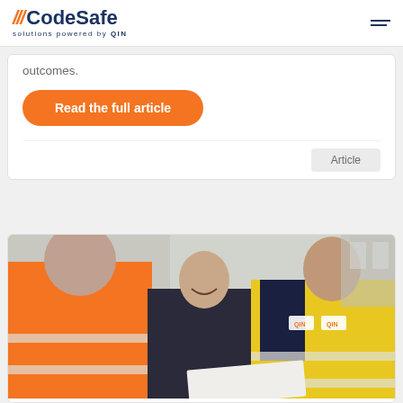CodeSafe solutions powered by QIN
outcomes.
Read the full article
Article
[Figure (photo): Three men in safety work gear, two wearing high-visibility jackets (orange and yellow), smiling and looking at a document together.]